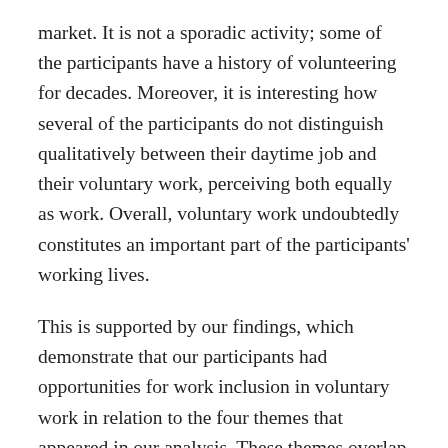market. It is not a sporadic activity; some of the participants have a history of volunteering for decades. Moreover, it is interesting how several of the participants do not distinguish qualitatively between their daytime job and their voluntary work, perceiving both equally as work. Overall, voluntary work undoubtedly constitutes an important part of the participants' working lives.
This is supported by our findings, which demonstrate that our participants had opportunities for work inclusion in voluntary work in relation to the four themes that appeared in our analysis. These themes overlap with some of the basic components of work inclusion described by Lysaght et al. (2012),